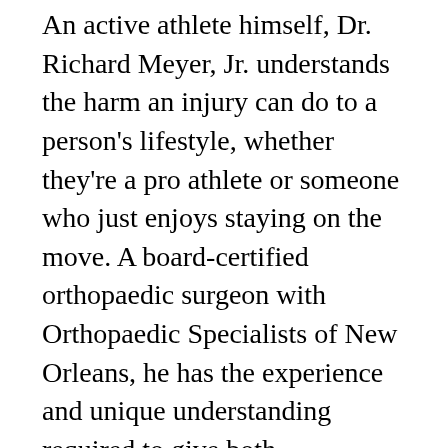An active athlete himself, Dr. Richard Meyer, Jr. understands the harm an injury can do to a person's lifestyle, whether they're a pro athlete or someone who just enjoys staying on the move. A board-certified orthopaedic surgeon with Orthopaedic Specialists of New Orleans, he has the experience and unique understanding required to give both conservative and surgical advice to active patients of all ages.
Orthopaedic Specialists of New Orleans offers full-service orthopaedic care with a concentration on Hip & Knee Reconstructive Surgery, Sports Medicine, and Hand Surgery